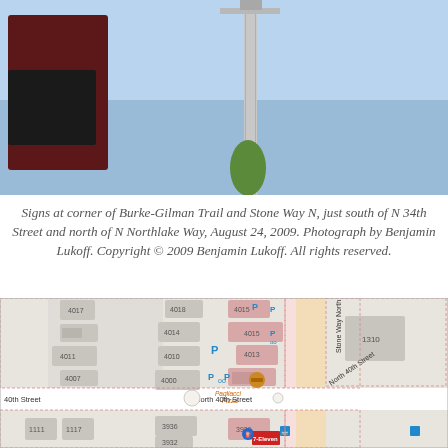[Figure (photo): Photograph showing signs at corner of Burke-Gilman Trail and Stone Way N, with a metal pole visible against a blue sky, and a dark sign/box on the left side.]
Signs at corner of Burke-Gilman Trail and Stone Way N, just south of N 34th Street and north of N Northlake Way, August 24, 2009. Photograph by Benjamin Lukoff. Copyright © 2009 Benjamin Lukoff. All rights reserved.
[Figure (map): Street map showing intersection of Stone Way North and North 40th Street, with building addresses including 4015, 4014, 4013, 4011, 4010, 4007, 4003, 4000, 1310, 1111, 1117, 3936, 3932, 3939, and businesses including Pagliacci Pizza and 7-Eleven. Parking icons (P) visible. Streets labeled: 40th Street, North 40th Street, Stone Way North.]